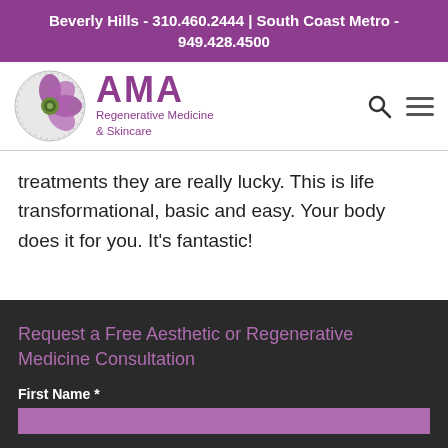Beverly Hills - 310.460.2444 | South Coast Metro - 949.428.4500
[Figure (logo): AMA Regenerative Medicine & Skincare logo with circular floral icon]
treatments they are really lucky. This is life transformational, basic and easy. Your body does it for you. It’s fantastic!
Request a Free Aesthetic or Regenerative Medicine Consultation
First Name *